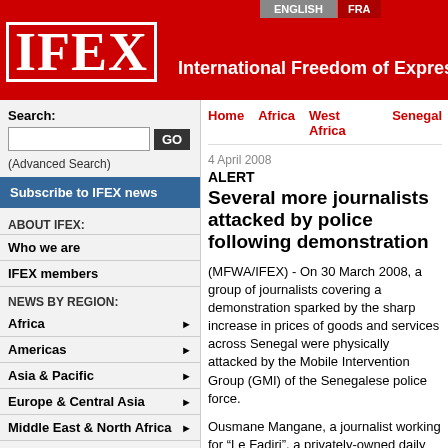IFEX - International Freedom of Expression
Search:
(Advanced Search)
Subscribe to IFEX news
ABOUT IFEX:
Who we are
IFEX members
NEWS BY REGION:
Africa
Americas
Asia & Pacific
Europe & Central Asia
Middle East & North Africa
International
IFEX CAMPAIGNS AND ADVOCACY:
Home  Africa  West Africa  Senegal
4 April 2008
ALERT
Several more journalists attacked by police following demonstration
(MFWA/IFEX) - On 30 March 2008, a group of journalists covering a demonstration sparked by the sharp increase in prices of goods and services across Senegal were physically attacked by the Mobile Intervention Group (GMI) of the Senegalese police force.
Ousmane Mangane, a journalist working for "Le Fadjri", a privately-owned daily newspaper based in Dakar, was assaulted by the security operatives while two police personnel reportedly sto...